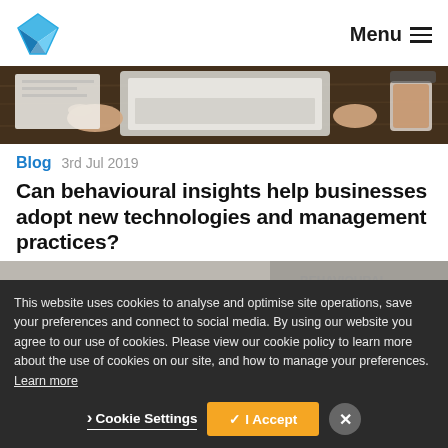Menu
[Figure (photo): Overhead view of hands on a laptop keyboard on a wooden desk, with papers and a coffee cup]
Blog   3rd Jul 2019
Can behavioural insights help businesses adopt new technologies and management practices?
[Figure (photo): Partial strip of a blurred background image]
This website uses cookies to analyse and optimise site operations, save your preferences and connect to social media. By using our website you agree to our use of cookies. Please view our cookie policy to learn more about the use of cookies on our site, and how to manage your preferences. Learn more
Cookie Settings   ✓ I Accept